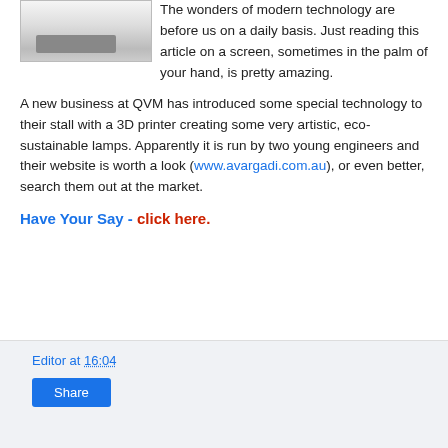[Figure (photo): Photo of a 3D printer device on a white surface, partially visible at top of page]
The wonders of modern technology are before us on a daily basis. Just reading this article on a screen, sometimes in the palm of your hand, is pretty amazing.
A new business at QVM has introduced some special technology to their stall with a 3D printer creating some very artistic, eco-sustainable lamps. Apparently it is run by two young engineers and their website is worth a look (www.avargadi.com.au), or even better, search them out at the market.
Have Your Say - click here.
Editor at 16:04  Share